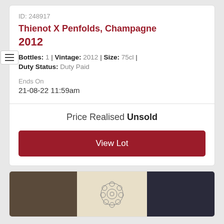ID: 248917
Thienot X Penfolds, Champagne 2012
Bottles: 1 | Vintage: 2012 | Size: 75cl | Duty Status: Duty Paid
Ends On
21-08-22 11:59am
Price Realised Unsold
View Lot
[Figure (photo): Wine bottle label/photo strip showing partial images]